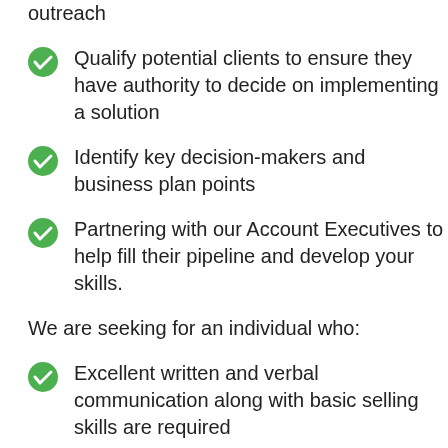outreach
Qualify potential clients to ensure they have authority to decide on implementing a solution
Identify key decision-makers and business plan points
Partnering with our Account Executives to help fill their pipeline and develop your skills.
We are seeking for an individual who:
Excellent written and verbal communication along with basic selling skills are required